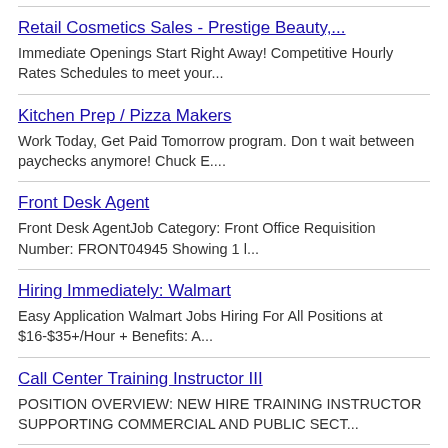Retail Cosmetics Sales - Prestige Beauty,...
Immediate Openings Start Right Away! Competitive Hourly Rates Schedules to meet your...
Kitchen Prep / Pizza Makers
Work Today, Get Paid Tomorrow program. Don t wait between paychecks anymore! Chuck E....
Front Desk Agent
Front Desk AgentJob Category: Front Office Requisition Number: FRONT04945 Showing 1 l...
Hiring Immediately: Walmart
Easy Application Walmart Jobs Hiring For All Positions at $16-$35+/Hour + Benefits: A...
Call Center Training Instructor III
POSITION OVERVIEW: NEW HIRE TRAINING INSTRUCTOR SUPPORTING COMMERCIAL AND PUBLIC SECT...